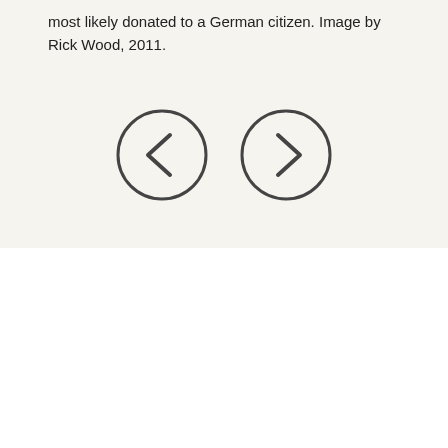most likely donated to a German citizen. Image by Rick Wood, 2011.
[Figure (illustration): Two circular navigation buttons: a left arrow (back) and a right arrow (forward), rendered as outlined circles with arrows inside.]
Pvt. Steven Drees, from Peshtigo, was asked if he wished to be an organ donor before deploying to Afghanistan. He said yes. When his unit was